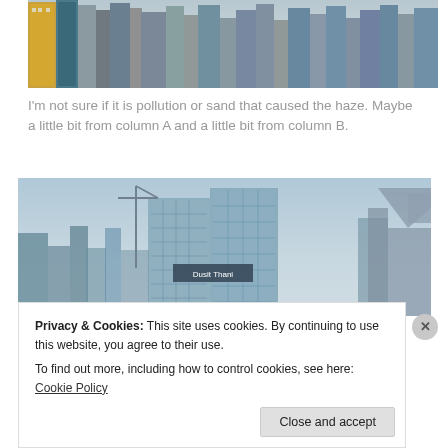[Figure (photo): Aerial or ground-level view of tall urban skyscrapers with haze in the background]
I'm not sure if it is pollution or sand that caused the haze. Maybe a little bit from column A and a little bit from column B.
[Figure (photo): City skyline photo showing modern glass skyscrapers including a building labeled 'Dusit Thani' under hazy sky]
Privacy & Cookies: This site uses cookies. By continuing to use this website, you agree to their use. To find out more, including how to control cookies, see here: Cookie Policy